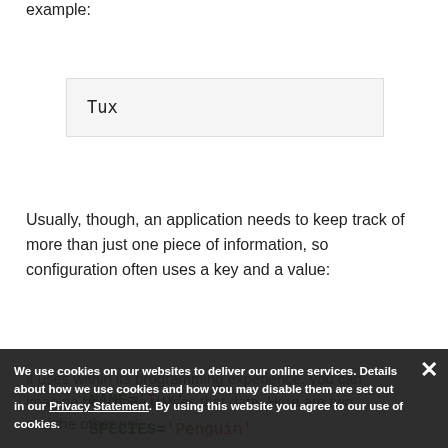example:
[Figure (screenshot): A simple text input box containing the word 'Tux']
Usually, though, an application needs to keep track of more than just one piece of information, so configuration often uses a key and a value:
[Figure (screenshot): A code box showing NAME='Tux' and SPECIES='Penguin' with green keys and red string values]
it uses within its programming experience. you can imagine how code parses that data. Here are two and the other usi.
We use cookies on our websites to deliver our online services. Details about how we use cookies and how you may disable them are set out in our Privacy Statement. By using this website you agree to our use of cookies.